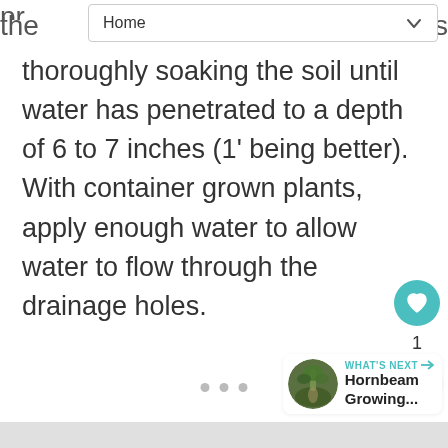Home
thoroughly soaking the soil until water has penetrated to a depth of 6 to 7 inches (1' being better). With container grown plants, apply enough water to allow water to flow through the drainage holes.
[Figure (other): Social action buttons: heart/like button (teal circle with heart icon), count of 1, and share button (white circle with share icon)]
[Figure (other): What's Next promo card showing a circular thumbnail of a wooded path, label 'WHAT'S NEXT' with arrow, and title 'Hornbeam Growing...']
[Figure (other): Three dot navigation indicators at bottom center]